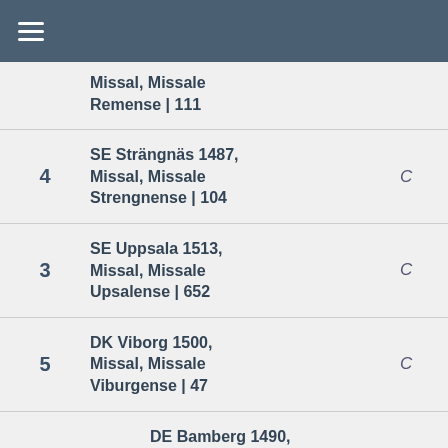☰
Missal, Missale Remense | 111
4   SE Strängnäs 1487, Missal, Missale Strengnense | 104   C
3   SE Uppsala 1513, Missal, Missale Upsalense | 652   C
5   DK Viborg 1500, Missal, Missale Viburgense | 47   C
9   DE Bamberg 1490, Missal, Missale Bambergense | 20   C